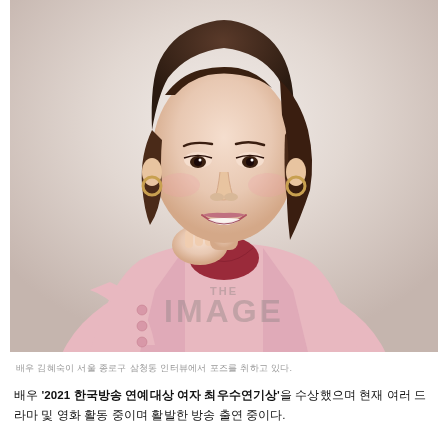[Figure (photo): Portrait photo of a middle-aged Asian woman smiling, wearing a pink blazer over a red lace top, with hoop earrings, hand raised near her chin, against a light background. A watermark reading 'THE IMAGE' appears in the center of the photo.]
배우 김혜숙이 서울 종로구 삼청동 인터뷰에서 포즈를 취하고 있다.
배우 '2021 한국방송 연예대상 여자 최우수연기상'을 수상했으며 현재 여러 드라마 및 영화 활동 중이며 활발한 방송 출연 중이다.